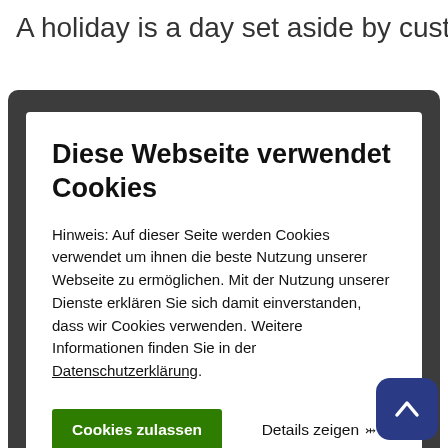A holiday is a day set aside by custom or by
[Figure (screenshot): Cookie consent modal dialog overlay on a dark background. Title: 'Diese Webseite verwendet Cookies'. Body text in German about cookie usage with a link 'Datenschutzerklärung'. Green button 'Cookies zulassen' and 'Details zeigen' link with chevron.]
reduced by a holiday may depend on local laws, customs, the type of job being held or personal choices.